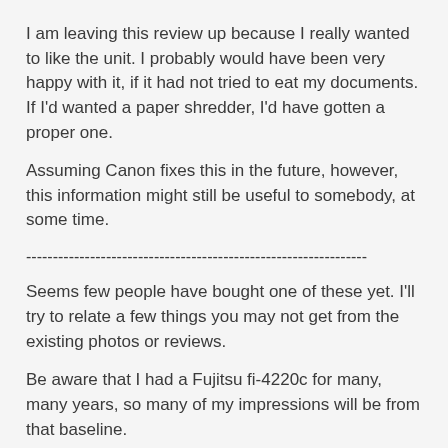I am leaving this review up because I really wanted to like the unit.  I probably would have been very happy with it, if it had not tried to eat my documents.  If I'd wanted a paper shredder, I'd have gotten a proper one.
Assuming Canon fixes this in the future, however, this information might still be useful to somebody, at some time.
----------------------------------------------------------------
Seems few people have bought one of these yet. I'll try to relate a few things you may not get from the existing photos or reviews.
Be aware that I had a Fujitsu fi-4220c for many, many years, so many of my impressions will be from that baseline.
Capsule review:  This is a tidy, nice looking and proper little butler of a scanning unit.  Just ask and it'll get done - even if you didn't ask quite right.